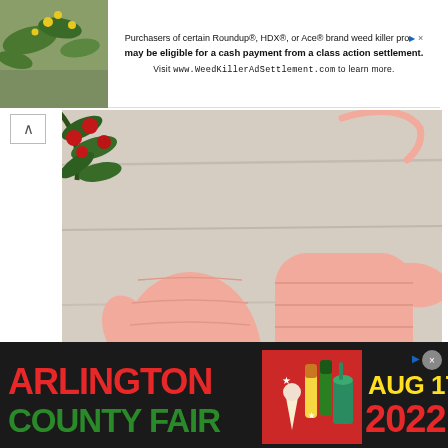[Figure (screenshot): Thumbnail image of plants/flowers in top-left corner]
[Figure (screenshot): Advertisement banner: Purchasers of certain Roundup®, HDX®, or Ace® brand weed killer products may be eligible for a cash payment from a class action settlement. Visit www.WeedKillerAdSettlement.com to learn more.]
[Figure (photo): Photo of two kawaii-style crocheted mittens in peach/salmon color on a wood background with pine branches and red berries. Watermark reads: Spin a Yarn Crochet]
[Figure (logo): Arlington County Fair advertisement. Text: ARLINGTON COUNTY FAIR with food icons and AUG 17-21 2022]